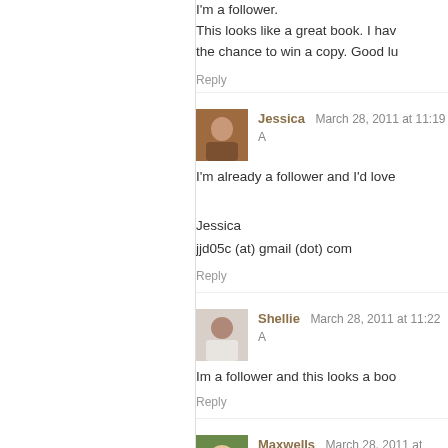I'm a follower. This looks like a great book. I hav... the chance to win a copy. Good lu...
Reply
Jessica  March 28, 2011 at 11:19 A...
I'm already a follower and I'd love...
Jessica
jjd05c (at) gmail (dot) com
Reply
Shellie  March 28, 2011 at 11:22 A...
Im a follower and this looks a boo...
Reply
Maxwells  March 28, 2011 at 11:2...
I am a follower. I love fast and ea...